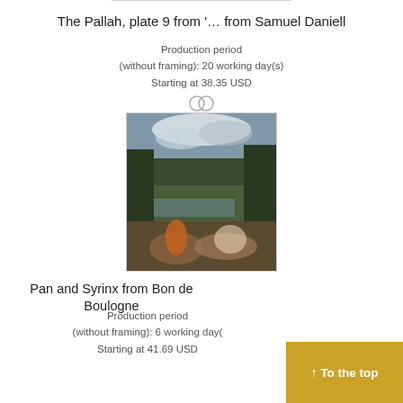The Pallah, plate 9 from '… from Samuel Daniell
Production period (without framing): 20 working day(s)
Starting at 38.35 USD
[Figure (other): Two overlapping circles icon (compare icon)]
[Figure (photo): Painting of Pan and Syrinx by Bon de Boulogne — a landscape with figures reclining near water surrounded by trees and cloudy sky]
Pan and Syrinx from Bon de Boulogne
Production period (without framing): 6 working day(s)
Starting at 41.69 USD